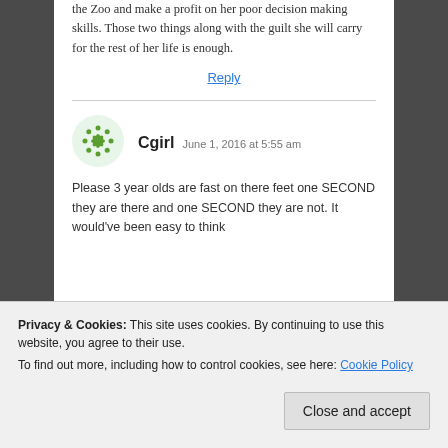the Zoo and make a profit on her poor decision making skills. Those two things along with the guilt she will carry for the rest of her life is enough.
Reply
Cgirl  June 1, 2016 at 5:55 am
Please 3 year olds are fast on there feet one SECOND they are there and one SECOND they are not. It would've been easy to think about it. That's the truly sad part of all of this!
Privacy & Cookies: This site uses cookies. By continuing to use this website, you agree to their use.
To find out more, including how to control cookies, see here: Cookie Policy
Close and accept